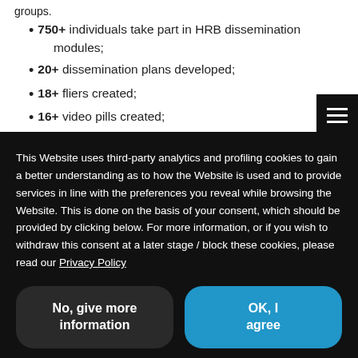groups.
750+ individuals take part in HRB dissemination modules;
20+ dissemination plans developed;
18+ fliers created;
16+ video pills created;
This Website uses third-party analytics and profiling cookies to gain a better understanding as to how the Website is used and to provide services in line with the preferences you reveal while browsing the Website. This is done on the basis of your consent, which should be provided by clicking below. For more information, or if you wish to withdraw this consent at a later stage / block these cookies, please read our Privacy Policy
No, give more information
OK, I agree